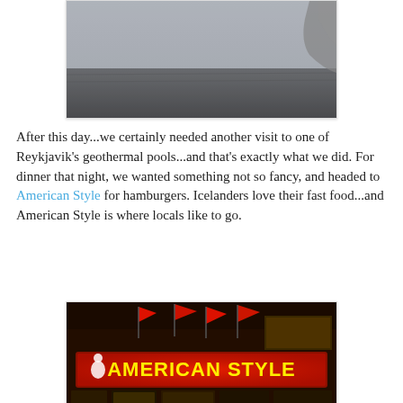[Figure (photo): Misty, foggy landscape photo with dark ground and grey hazy sky, partial rock formation visible at right edge]
After this day...we certainly needed another visit to one of Reykjavik's geothermal pools...and that's exactly what we did. For dinner that night, we wanted something not so fancy, and headed to American Style for hamburgers. Icelanders love their fast food...and American Style is where locals like to go.
[Figure (photo): Night photo of American Style restaurant with illuminated yellow sign reading 'AMERICAN STYLE' and red flags/banners decorating the exterior]